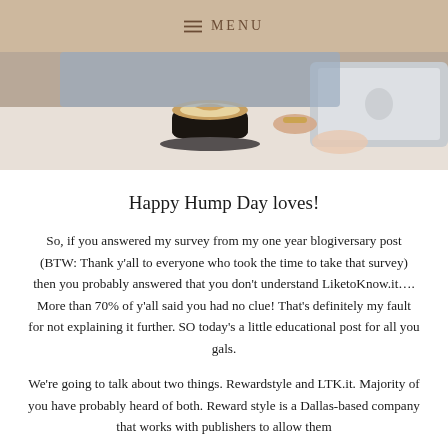≡ MENU
[Figure (photo): Partial photo of a person working at a laptop with a coffee cup on a saucer in the foreground, top portion visible]
Happy Hump Day loves!
So, if you answered my survey from my one year blogiversary post (BTW: Thank y'all to everyone who took the time to take that survey) then you probably answered that you don't understand LiketoKnow.it.... More than 70% of y'all said you had no clue! That's definitely my fault for not explaining it further. SO today's a little educational post for all you gals.
We're going to talk about two things. Rewardstyle and LTK.it. Majority of you have probably heard of both. Reward style is a Dallas-based company that works with publishers to allow them